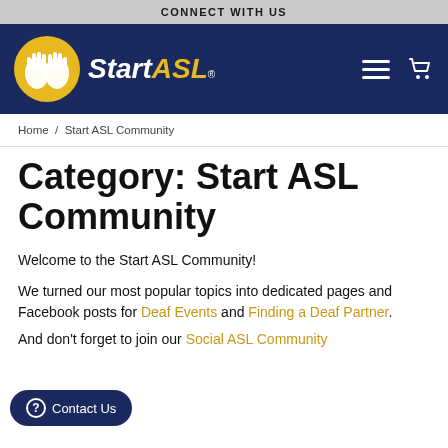CONNECT WITH US
[Figure (logo): Start ASL logo with hands signing on a yellow circle, white italic 'Start' text and yellow italic 'ASL' text on dark blue navigation bar, with hamburger menu and cart icons]
Home / Start ASL Community
Category: Start ASL Community
Welcome to the Start ASL Community!
We turned our most popular topics into dedicated pages and Facebook posts for Deaf Events and Finding [a Deaf Partner].
And don't forget to join our Social ASL Community
Contact Us